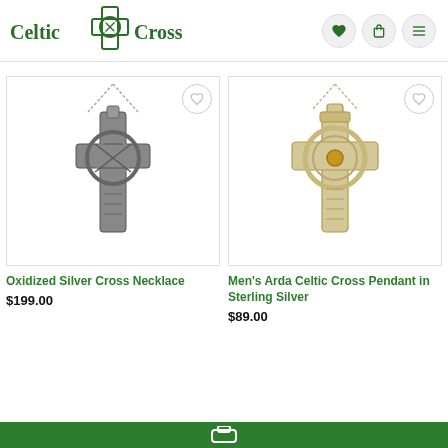[Figure (logo): Celtic Cross logo with knotwork cross icon between the words Celtic and Cross, in dark green]
[Figure (photo): Oxidized silver Celtic cross pendant necklace on silver chain]
Oxidized Silver Cross Necklace
$199.00
[Figure (photo): Men's Arda Celtic Cross Pendant in Sterling Silver with gold center on silver chain]
Men's Arda Celtic Cross Pendant in Sterling Silver
$89.00